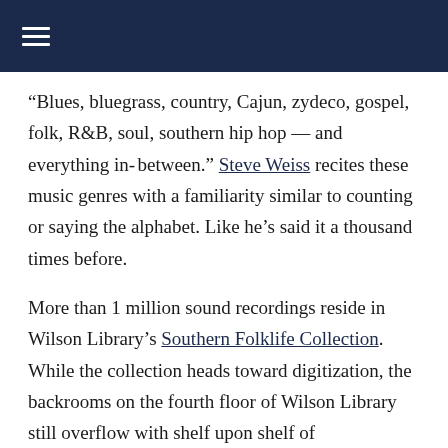“Blues, bluegrass, country, Cajun, zydeco, gospel, folk, R&B, soul, southern hip hop — and everything in- between.” Steve Weiss recites these music genres with a familiarity similar to counting or saying the alphabet. Like he’s said it a thousand times before.
More than 1 million sound recordings reside in Wilson Library’s Southern Folklife Collection. While the collection heads toward digitization, the backrooms on the fourth floor of Wilson Library still overflow with shelf upon shelf of